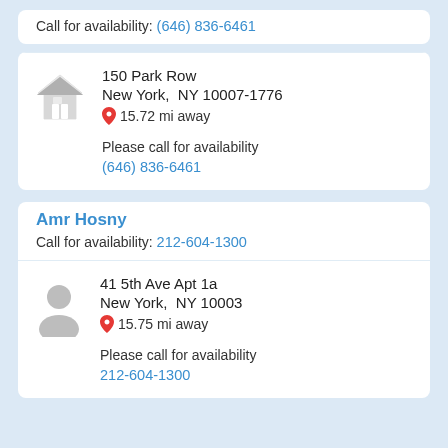Call for availability: (646) 836-6461
150 Park Row
New York, NY 10007-1776
15.72 mi away
Please call for availability
(646) 836-6461
Amr Hosny
Call for availability: 212-604-1300
41 5th Ave Apt 1a
New York, NY 10003
15.75 mi away
Please call for availability
212-604-1300